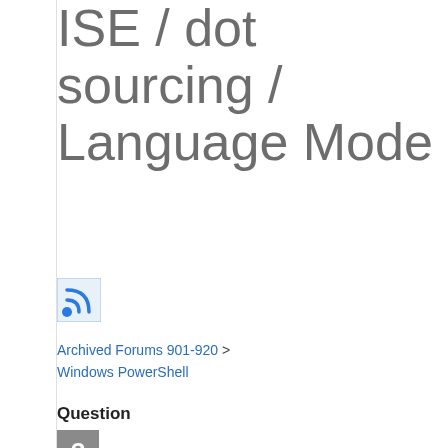ISE / dot sourcing / Language Mode
[Figure (other): RSS feed icon in blue on white background]
Archived Forums 901-920 > Windows PowerShell
Question
[Figure (other): Gray question mark avatar icon]
0
Sign in to vote